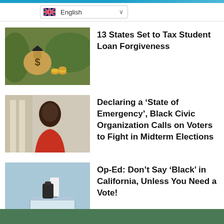English language selector
13 States Set to Tax Student Loan Forgiveness
Declaring a ‘State of Emergency’, Black Civic Organization Calls on Voters to Fight in Midterm Elections
Op-Ed: Don’t Say ‘Black’ in California, Unless You Need a Vote!